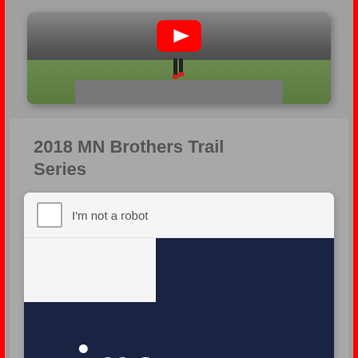[Figure (screenshot): YouTube video thumbnail showing a person's legs on a path with grass, with a red YouTube play button icon overlay]
2018 MN Brothers Trail Series
[Figure (screenshot): Vimeo embedded video card with a reCAPTCHA 'I'm not a robot' checkbox at top, a dark navy background with the Vimeo logo text 'vime' visible, and a caption link 'Minnesota Brothers Trail Series from' below]
Minnesota Brothers Trail Series from